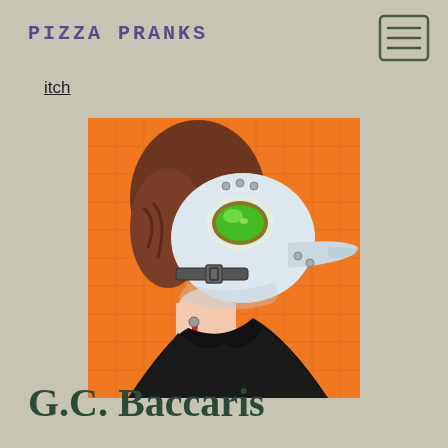PIZZA PRANKS
itch
[Figure (illustration): Illustration of a person wearing a plague doctor mask (white beak mask with green eye lens and rivets), with brown hair and a dagger earring, dressed in a black coat. The background is bright orange with a subtle grid pattern.]
G.C. Baccaris